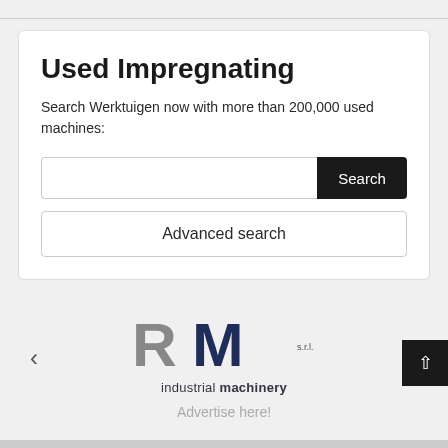Used Impregnating
Search Werktuigen now with more than 200,000 used machines:
[Figure (screenshot): Search input field with dark Search button]
Advanced search
[Figure (logo): RM industrial machinery logo with grey R and dark blue M, tagline: industrial machinery]
Advertise here!